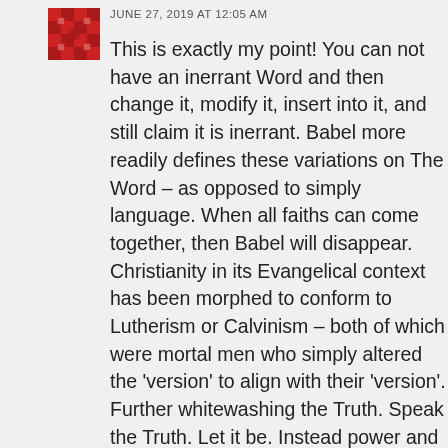JUNE 27, 2019 AT 12:05 AM
This is exactly my point! You can not have an inerrant Word and then change it, modify it, insert into it, and still claim it is inerrant. Babel more readily defines these variations on The Word – as opposed to simply language. When all faiths can come together, then Babel will disappear. Christianity in its Evangelical context has been morphed to conform to Lutherism or Calvinism – both of which were mortal men who simply altered the 'version' to align with their 'version'. Further whitewashing the Truth. Speak the Truth. Let it be. Instead power and control dictate and